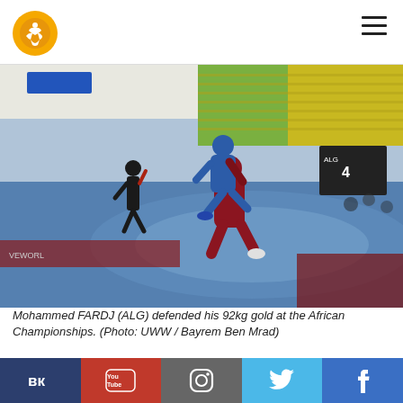[Figure (logo): UWW (United World Wrestling) orange circular logo with white figure]
[Figure (photo): Two wrestlers competing on a blue mat — one in red singlet lifting opponent in blue singlet — at an indoor arena with colorful seats in the background. A referee in black stands nearby. African Championships venue.]
Mohammed FARDJ (ALG) defended his 92kg gold at the African Championships. (Photo: UWW / Bayrem Ben Mrad)
Another Olympian who won the gold for Algeria was Mohammed